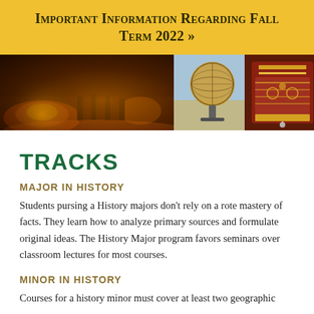Important Information Regarding Fall Term 2022 »
[Figure (photo): Three photographs side by side: left shows a nighttime street scene with fire and soldiers; center shows an ornate circular artifact/globe on a stand against a light blue background; right shows an elaborately decorated traditional garment or artifact with red and gold patterns.]
TRACKS
MAJOR IN HISTORY
Students pursing a History majors don't rely on a rote mastery of facts. They learn how to analyze primary sources and formulate original ideas. The History Major program favors seminars over classroom lectures for most courses.
MINOR IN HISTORY
Courses for a history minor must cover at least two geographic